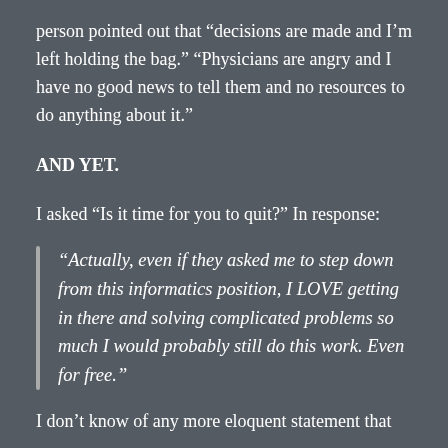person pointed out that “decisions are made and I’m left holding the bag.” “Physicians are angry and I have no good news to tell them and no resources to do anything about it.”
AND YET.
I asked “Is it time for you to quit?” In response:
“Actually, even if they asked me to step down from this informatics position, I LOVE getting in there and solving complicated problems so much I would probably still do this work. Even for free.”
I don’t know of any more eloquent statement that